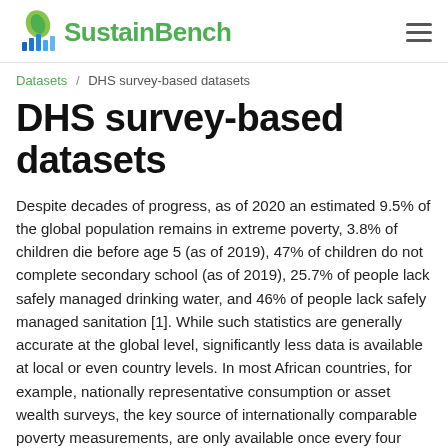SustainBench
Datasets / DHS survey-based datasets
DHS survey-based datasets
Despite decades of progress, as of 2020 an estimated 9.5% of the global population remains in extreme poverty, 3.8% of children die before age 5 (as of 2019), 47% of children do not complete secondary school (as of 2019), 25.7% of people lack safely managed drinking water, and 46% of people lack safely managed sanitation [1]. While such statistics are generally accurate at the global level, significantly less data is available at local or even country levels. In most African countries, for example, nationally representative consumption or asset wealth surveys, the key source of internationally comparable poverty measurements, are only available once every four years or